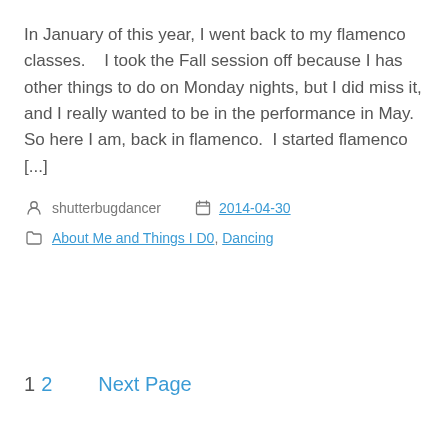In January of this year, I went back to my flamenco classes.    I took the Fall session off because I has other things to do on Monday nights, but I did miss it, and I really wanted to be in the performance in May.  So here I am, back in flamenco.  I started flamenco [...]
shutterbugdancer  2014-04-30
About Me and Things I D0, Dancing
1 2  Next Page